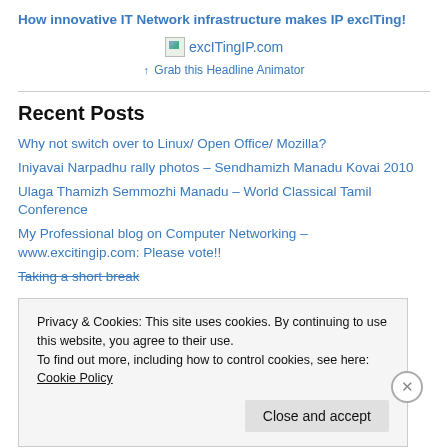How innovative IT Network infrastructure makes IP exclTing!
[Figure (other): excITingIP.com logo/headline animator image with link]
↑ Grab this Headline Animator
Recent Posts
Why not switch over to Linux/ Open Office/ Mozilla?
Iniyavai Narpadhu rally photos – Sendhamizh Manadu Kovai 2010
Ulaga Thamizh Semmozhi Manadu – World Classical Tamil Conference
My Professional blog on Computer Networking – www.excitingip.com: Please vote!!
Taking a short break
Privacy & Cookies: This site uses cookies. By continuing to use this website, you agree to their use.
To find out more, including how to control cookies, see here: Cookie Policy